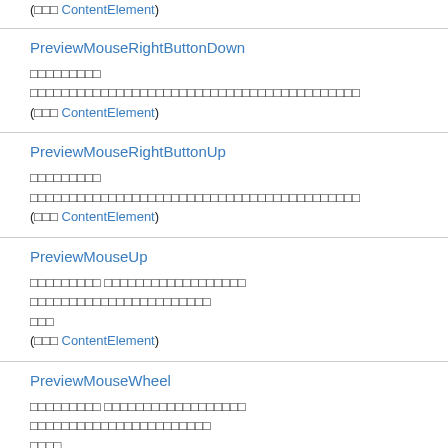(□□□ ContentElement)
PreviewMouseRightButtonDown
□□□□□□□□□ □□□□□□□□□□□□□□□□□□□□□□□□□□□□□□□□□□□□□□□□□□ (□□□ ContentElement)
PreviewMouseRightButtonUp
□□□□□□□□□ □□□□□□□□□□□□□□□□□□□□□□□□□□□□□□□□□□□□□□□□□□ (□□□ ContentElement)
PreviewMouseUp
□□□□□□□□□ □□□□□□□□□□□□□□□□□□ □□□□□□□□□□□□□□□□□□□□□□□ □□□ (□□□ ContentElement)
PreviewMouseWheel
□□□□□□□□□ □□□□□□□□□□□□□□□□□□ □□□□□□□□□□□□□□□□□□□□□□□ □□□□ (□□□ ContentElement)
PreviewQueryContinueDrag